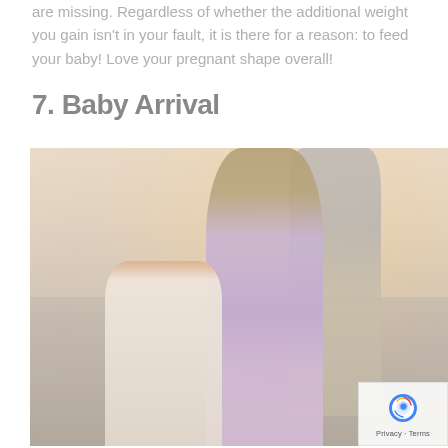are missing. Regardless of whether the additional weight you gain isn't in your fault, it is there for a reason: to feed your baby! Love your pregnant shape overall!
7. Baby Arrival
[Figure (photo): A maternity photo of a pregnant woman in a lavender dress on a beach, with a young boy kneeling in front touching her belly, and a man standing behind her embracing her. Warm sunlight in the background.]